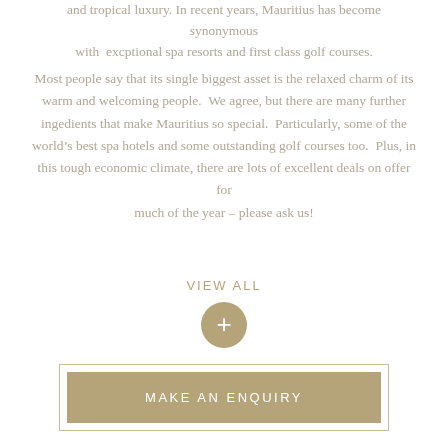and tropical luxury.  In recent years, Mauritius has become synonymous with  excptional spa resorts and first class golf courses.
Most people say that its single biggest asset is the relaxed charm of its warm and welcoming people.  We agree, but there are many further ingedients that make Mauritius so special.  Particularly, some of the world’s best spa hotels and some outstanding golf courses too.  Plus, in this tough economic climate, there are lots of excellent deals on offer for much of the year – please ask us!
VIEW ALL
[Figure (other): A circular button with a plus (+) sign in gold/tan color]
MAKE AN ENQUIRY